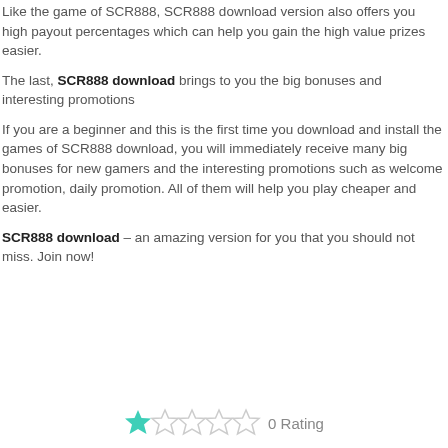Like the game of SCR888, SCR888 download version also offers you high payout percentages which can help you gain the high value prizes easier.
The last, SCR888 download brings to you the big bonuses and interesting promotions
If you are a beginner and this is the first time you download and install the games of SCR888 download, you will immediately receive many big bonuses for new gamers and the interesting promotions such as welcome promotion, daily promotion. All of them will help you play cheaper and easier.
SCR888 download – an amazing version for you that you should not miss. Join now!
[Figure (other): Star rating: 0 Rating, 1 filled teal star and 4 empty stars]